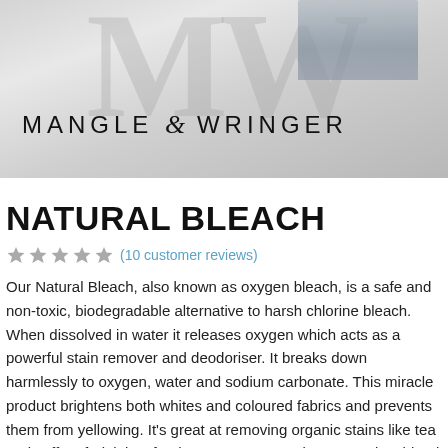[Figure (logo): Mangle & Wringer brand header image with large MW watermark in grey and product bottles visible at top, with the text MANGLE & WRINGER logo overlaid]
NATURAL BLEACH
(10 customer reviews) — 5 star rating
Our Natural Bleach, also known as oxygen bleach, is a safe and non-toxic, biodegradable alternative to harsh chlorine bleach. When dissolved in water it releases oxygen which acts as a powerful stain remover and deodoriser. It breaks down harmlessly to oxygen, water and sodium carbonate. This miracle product brightens both whites and coloured fabrics and prevents them from yellowing. It's great at removing organic stains like tea and coffee, fruit juice, food sauces, grass stains, pet stains, blood and red wine.